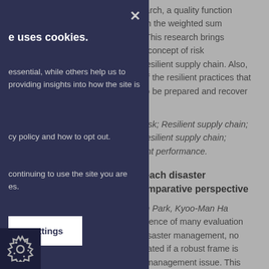search, a quality function with the weighted sum d. This research brings the concept of risk e resilient supply chain. Also, s of the resilient practices that s to be prepared and recover ns.
n risk; Resilient supply chain; e resilient supply chain; llient performance.
n each disaster comparative perspective
-Jin Park, Kyoo-Man Ha xistence of many evaluation f disaster management, no aluated if a robust frame is er management issue. This e United States, Indonesia, robust frame on each
e uses cookies. essential, while others help us to providing insights into how the site is cy policy and how to opt out. continuing to use the site you are es.
core functionality such as page cure areas. The website cannot se cookies, and can only be disabled rences.